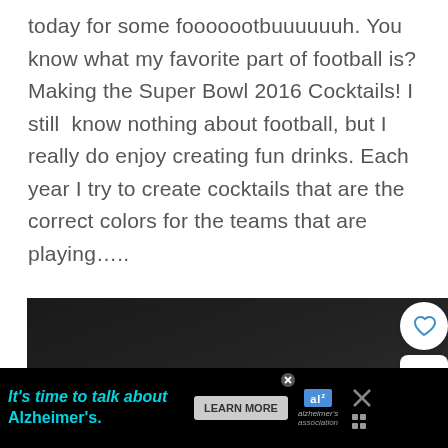today for some fooooootbuuuuuuh. You know what my favorite part of football is? Making the Super Bowl 2016 Cocktails! I still know nothing about football, but I really do enjoy creating fun drinks. Each year I try to create cocktails that are the correct colors for the teams that are playing…..
[Figure (photo): Dark background food/drink photo showing orange slices and blurry orange-colored items, with social action buttons (heart/like, count 187, share) overlaid on the right side.]
It's time to talk about Alzheimer's. LEARN MORE